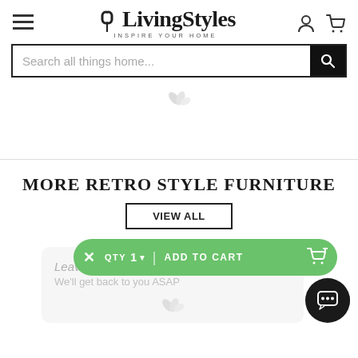[Figure (screenshot): LivingStyles website header with hamburger menu, logo with leaf icon and tagline INSPIRE YOUR HOME, user icon, and cart icon]
[Figure (screenshot): Search bar with placeholder text 'Search all things home...' and black search button]
[Figure (screenshot): Loading spinner (pinwheel) icon]
MORE RETRO STYLE FURNITURE
[Figure (screenshot): VIEW ALL button outlined in black]
[Figure (screenshot): Green ADD TO CART bar with X close button, QTY 1 dropdown, and cart icon]
[Figure (screenshot): Scroll to top circular button with up arrow]
[Figure (screenshot): Chat bubble button (dark circle with chat icon)]
[Figure (screenshot): Message popup: 'Leave a message / We'll get back to you ASAP' with loading spinner below]